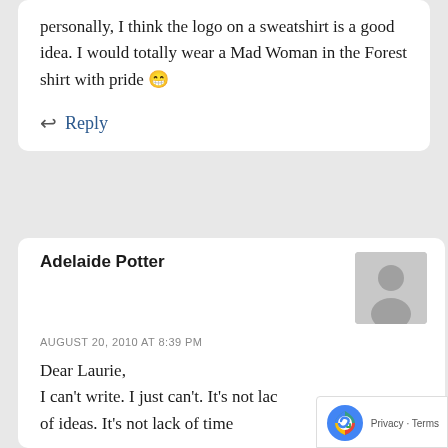personally, I think the logo on a sweatshirt is a good idea. I would totally wear a Mad Woman in the Forest shirt with pride 😁
↩ Reply
Adelaide Potter
AUGUST 20, 2010 AT 8:39 PM
Dear Laurie,
I can't write. I just can't. It's not lack of ideas. It's not lack of time